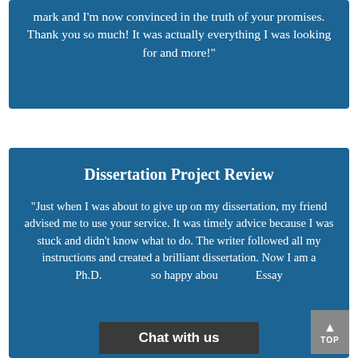mark and I'm now convinced in the truth of your promises. Thank you so much! It was actually everything I was looking for and more!"
Dissertation Project Review
"Just when I was about to give up on my dissertation, my friend advised me to use your service. It was timely advice because I was stuck and didn't know what to do. The writer followed all my instructions and created a brilliant dissertation. Now I am a Ph.D… so happy abou… Essay